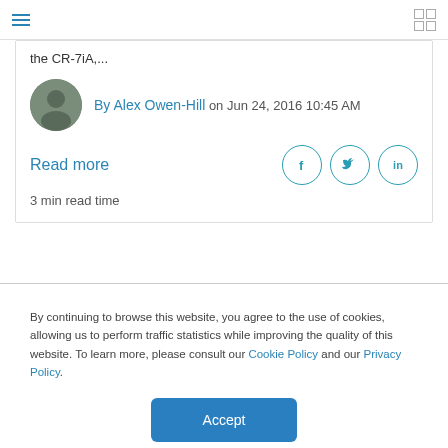Navigation bar with hamburger menu and grid icon
the CR-7iA,...
By Alex Owen-Hill on Jun 24, 2016 10:45 AM
Read more
3 min read time
By continuing to browse this website, you agree to the use of cookies, allowing us to perform traffic statistics while improving the quality of this website. To learn more, please consult our Cookie Policy and our Privacy Policy.
Accept